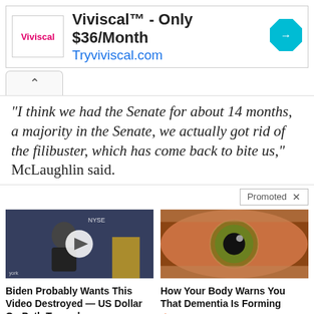[Figure (infographic): Viviscal advertisement banner with logo, text 'Viviscal™ - Only $36/Month', 'Tryviviscal.com', and blue diamond arrow icon]
[Figure (infographic): Chevron up arrow tab UI element]
“I think we had the Senate for about 14 months, a majority in the Senate, we actually got rid of the filibuster, which has come back to bite us,” McLaughlin said.
Promoted X
[Figure (photo): Video thumbnail showing a man in a suit on a TV set with NYSE visible, with a play button overlay. Caption: Biden Probably Wants This Video Destroyed — US Dollar On Path Towards Replacement? 109,122]
[Figure (photo): Close-up photo of a human eye. Caption: How Your Body Warns You That Dementia Is Forming 39,999]
Biden Probably Wants This Video Destroyed — US Dollar On Path Towards Replacement?
How Your Body Warns You That Dementia Is Forming
109,122
39,999